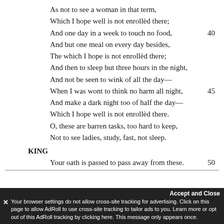As not to see a woman in that term,
Which I hope well is not enrollèd there;
And one day in a week to touch no food,    40
And but one meal on every day besides,
The which I hope is not enrollèd there;
And then to sleep but three hours in the night,
And not be seen to wink of all the day—
When I was wont to think no harm all night,    45
And make a dark night too of half the day—
Which I hope well is not enrollèd there.
O, these are barren tasks, too hard to keep,
Not to see ladies, study, fast, not sleep.
KING
Your oath is passed to pass away from these.    50
Your browser settings do not allow cross-site tracking for advertising. Click on this page to allow AdRoll to use cross-site tracking to tailor ads to you. Learn more or opt out of this AdRoll tracking by clicking here. This message only appears once.